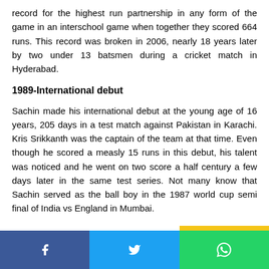record for the highest run partnership in any form of the game in an interschool game when together they scored 664 runs. This record was broken in 2006, nearly 18 years later by two under 13 batsmen during a cricket match in Hyderabad.
1989-International debut
Sachin made his international debut at the young age of 16 years, 205 days in a test match against Pakistan in Karachi. Kris Srikkanth was the captain of the team at that time. Even though he scored a measly 15 runs in this debut, his talent was noticed and he went on two score a half century a few days later in the same test series. Not many know that Sachin served as the ball boy in the 1987 world cup semi final of India vs England in Mumbai.
[Figure (other): Social media share bar with Facebook, Twitter, and WhatsApp buttons]